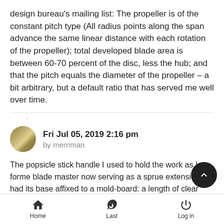design bureau's mailing list: The propeller is of the constant pitch type (All radius points along the span advance the same linear distance with each rotation of the propeller); total developed blade area is between 60-70 percent of the disc, less the hub; and that the pitch equals the diameter of the propeller – a bit arbitrary, but a default ratio that has served me well over time.
Like   Dislike
Fri Jul 05, 2019 2:16 pm
by merriman
The popsicle stick handle I used to hold the work as I forme blade master now serving as a sprue extension had its base affixed to a mold-board: a length of clear Lexan tube used as a